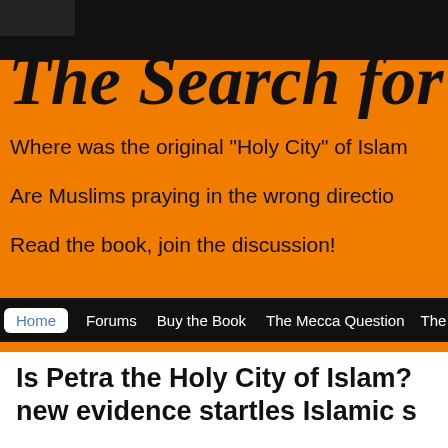[Figure (screenshot): Website header banner with orange background showing 'The Search for M' in large italic serif font, subtitle lines about Holy City of Islam and Muslims praying direction, and navigation bar with Home, Forums, Buy the Book, The Mecca Question, The E links]
Is Petra the Holy City of Islam? new evidence startles Islamic s